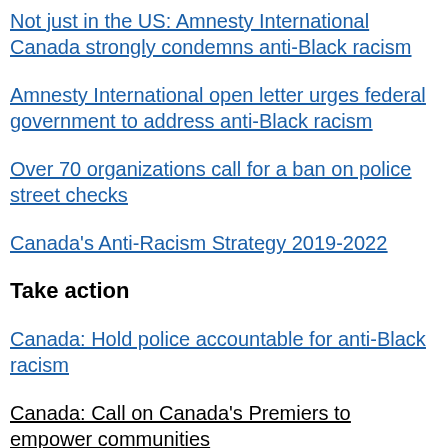Not just in the US: Amnesty International Canada strongly condemns anti-Black racism
Amnesty International open letter urges federal government to address anti-Black racism
Over 70 organizations call for a ban on police street checks
Canada's Anti-Racism Strategy 2019-2022
Take action
Canada: Hold police accountable for anti-Black racism
Canada: Call on Canada's Premiers to empower communities